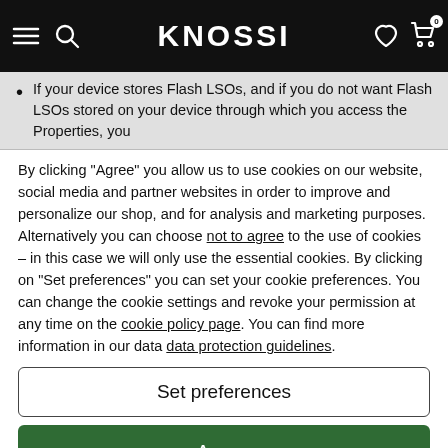KNOSSI
If your device stores Flash LSOs, and if you do not want Flash LSOs stored on your device through which you access the Properties, you
By clicking “Agree” you allow us to use cookies on our website, social media and partner websites in order to improve and personalize our shop, and for analysis and marketing purposes. Alternatively you can choose not to agree to the use of cookies – in this case we will only use the essential cookies. By clicking on “Set preferences” you can set your cookie preferences. You can change the cookie settings and revoke your permission at any time on the cookie policy page. You can find more information in our data data protection guidelines.
Set preferences
Agree